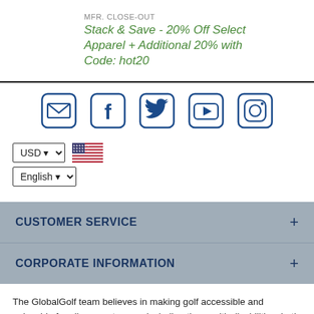MFR. CLOSE-OUT
Stack & Save - 20% Off Select Apparel + Additional 20% with Code: hot20
[Figure (infographic): Row of social media icons: email/envelope, Facebook, Twitter, YouTube, Instagram — all in a rounded-square style with dark blue outlines]
USD (dropdown) with US flag icon
English (dropdown)
CUSTOMER SERVICE +
CORPORATE INFORMATION +
The GlobalGolf team believes in making golf accessible and enjoyable for all our customers, including those with disabilities, both on the golf course and online through our website. That is why we strive to meet the World Wide Web Consortium's Web Content Accessibility Guidelines (WCAG) 2.1 Level AA. Accessibility is an ongoing effort for GlobalGolf. We are always searching for solutions that will improve the accessibility of our site. If, at any time, you have difficulty using or accessing any part of the GlobalGolf website, please feel free